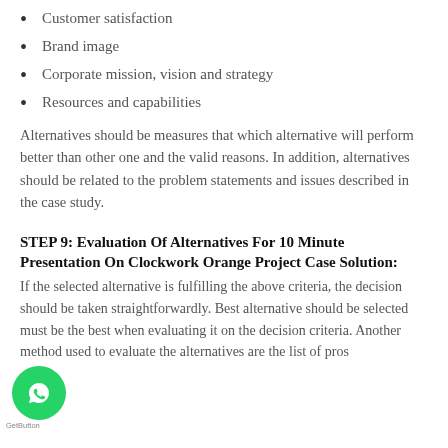Customer satisfaction
Brand image
Corporate mission, vision and strategy
Resources and capabilities
Alternatives should be measures that which alternative will perform better than other one and the valid reasons. In addition, alternatives should be related to the problem statements and issues described in the case study.
STEP 9: Evaluation Of Alternatives For 10 Minute Presentation On Clockwork Orange Project Case Solution:
If the selected alternative is fulfilling the above criteria, the decision should be taken straightforwardly. Best alternative should be selected must be the best when evaluating it on the decision criteria. Another method used to evaluate the alternatives are the list of pros